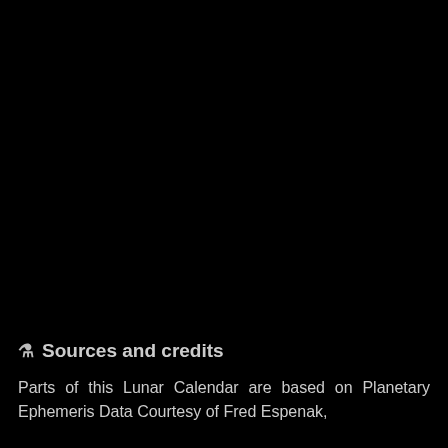🧪 Sources and credits
Parts of this Lunar Calendar are based on Planetary Ephemeris Data Courtesy of Fred Espenak,